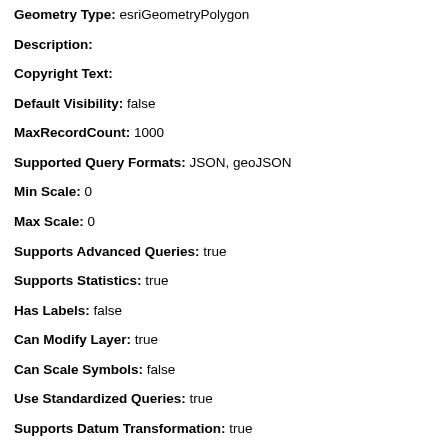Geometry Type: esriGeometryPolygon
Description:
Copyright Text:
Default Visibility: false
MaxRecordCount: 1000
Supported Query Formats: JSON, geoJSON
Min Scale: 0
Max Scale: 0
Supports Advanced Queries: true
Supports Statistics: true
Has Labels: false
Can Modify Layer: true
Can Scale Symbols: false
Use Standardized Queries: true
Supports Datum Transformation: true